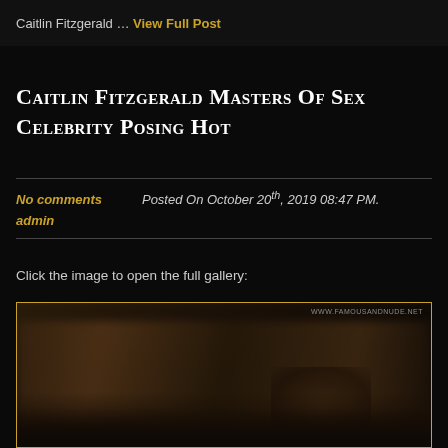Caitlin Fitzgerald … View Full Post
Caitlin Fitzgerald Masters Of Sex Celebrity Posing Hot
No comments    Posted On October 20th, 2019 08:47 PM.
admin
Click the image to open the full gallery:
[Figure (photo): Dark, partially visible photograph with a watermark reading WWW.FAMOUSANDNUDE.NET in the top right corner. The image shows a dimly lit scene, largely obscured.]